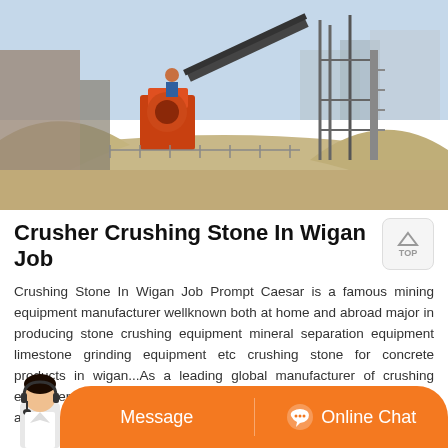[Figure (photo): Outdoor mining/stone crushing plant with conveyor belts, heavy machinery, and large piles of crushed stone/sand under a clear sky]
Crusher Crushing Stone In Wigan Job
Crushing Stone In Wigan Job Prompt Caesar is a famous mining equipment manufacturer wellknown both at home and abroad major in producing stone crushing equipment mineral separation equipment limestone grinding equipment etc crushing stone for concrete products in wigan...As a leading global manufacturer of crushing equipment, milling equipment,dressing equipment,drying equipment and